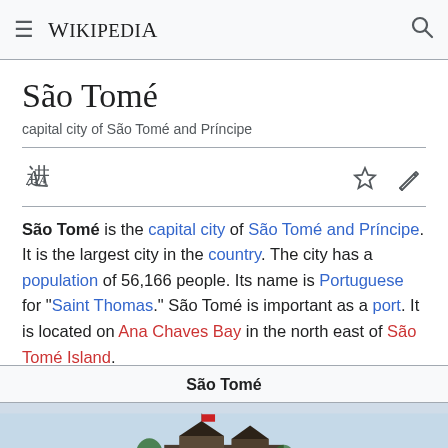≡  WIKIPEDIA  🔍
São Tomé
capital city of São Tomé and Príncipe
São Tomé is the capital city of São Tomé and Príncipe. It is the largest city in the country. The city has a population of 56,166 people. Its name is Portuguese for "Saint Thomas." São Tomé is important as a port. It is located on Ana Chaves Bay in the north east of São Tomé Island.
| São Tomé |
| --- |
| [image of São Tomé] |